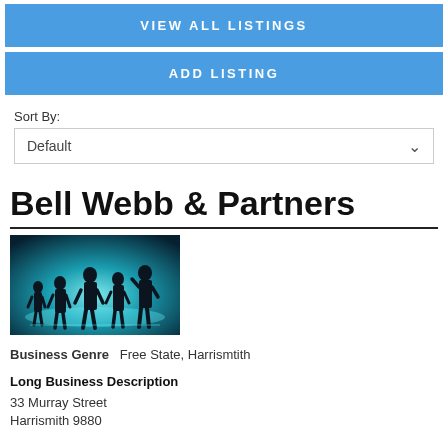VIEW ALL LISTINGS
ADD LISTING
Sort By:
Default
Bell Webb & Partners
[Figure (photo): Silhouettes of business people standing against a blue-green glowing background with a world map.]
Business Genre   Free State, Harrismtith
Long Business Description
33 Murray Street
Harrismith 9880